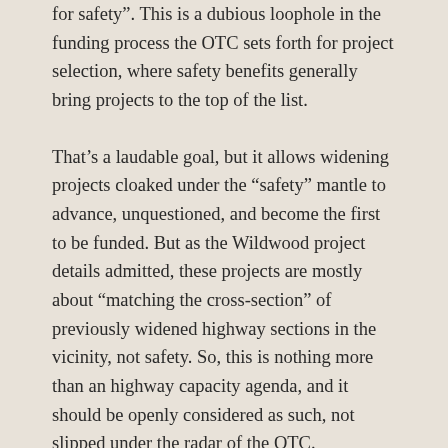for safety". This is a dubious loophole in the funding process the OTC sets forth for project selection, where safety benefits generally bring projects to the top of the list.
That’s a laudable goal, but it allows widening projects cloaked under the “safety” mantle to advance, unquestioned, and become the first to be funded. But as the Wildwood project details admitted, these projects are mostly about “matching the cross-section” of previously widened highway sections in the vicinity, not safety. So, this is nothing more than an highway capacity agenda, and it should be openly considered as such, not slipped under the radar of the OTC.
The stakes are much higher for the Laurel Hill “widening for safety” projects. While future generations may